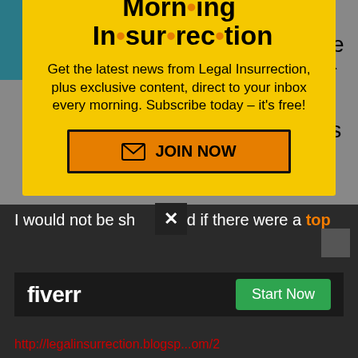financial ponzi scheme has been exposed, we're dealing with a clusterf*** of grand proportions!...I would be VERY cautious in promoting
[Figure (illustration): Wheelchair accessibility icon on teal background]
[Figure (screenshot): Morning Insurrection popup modal on yellow background with 'JOIN NOW' button]
I would not be shocked if there were a top
[Figure (logo): Fiverr advertisement banner with Start Now button]
http://legalinsurrection.blogspot.com/2